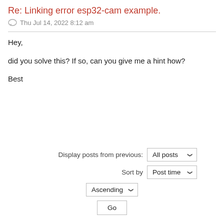Re: Linking error esp32-cam example.
Thu Jul 14, 2022 8:12 am
Hey,

did you solve this? If so, can you give me a hint how?

Best
Display posts from previous: All posts
Sort by Post time
Ascending
Go